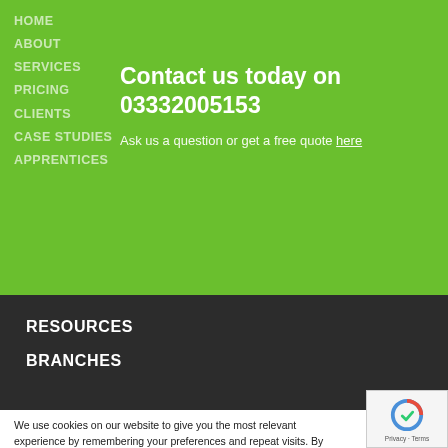HOME
ABOUT
SERVICES
PRICING
CLIENTS
CASE STUDIES
APPRENTICES
Contact us today on 03332005153
Ask us a question or get a free quote here
RESOURCES
BRANCHES
We use cookies on our website to give you the most relevant experience by remembering your preferences and repeat visits. By clicking "Accept All", you consent to the use of ALL the cookies. However, you may visit "Cookie Settings" to provide a controlled consent. Read More